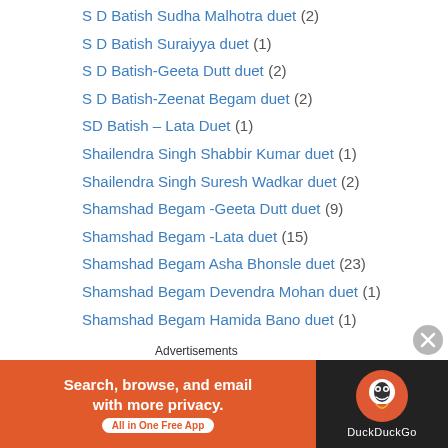S D Batish Sudha Malhotra duet (2)
S D Batish Suraiyya duet (1)
S D Batish-Geeta Dutt duet (2)
S D Batish-Zeenat Begam duet (2)
SD Batish – Lata Duet (1)
Shailendra Singh Shabbir Kumar duet (1)
Shailendra Singh Suresh Wadkar duet (2)
Shamshad Begam -Geeta Dutt duet (9)
Shamshad Begam -Lata duet (15)
Shamshad Begam Asha Bhonsle duet (23)
Shamshad Begam Devendra Mohan duet (1)
Shamshad Begam Hamida Bano duet (1)
Shamshad Begam Kamal Barot duet (3)
Shamshad Begam Mahendra Kapoor duet (1)
Shamshad Begam Rafi duet (98)
Shamshad Begam Rajkumari duet (1)
Shamshad Begam Sudha Malhotra duet (2)
Advertisements
[Figure (infographic): DuckDuckGo advertisement banner: orange section with text 'Search, browse, and email with more privacy. All in One Free App' and dark section with DuckDuckGo logo and duck icon.]